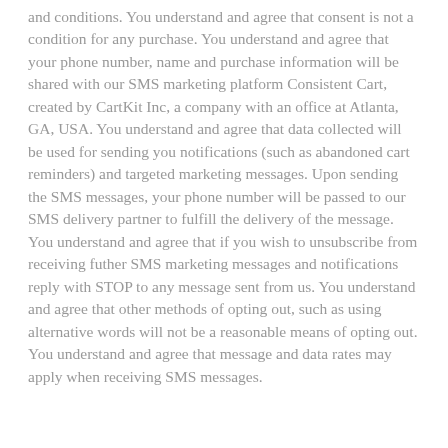and conditions. You understand and agree that consent is not a condition for any purchase. You understand and agree that your phone number, name and purchase information will be shared with our SMS marketing platform Consistent Cart, created by CartKit Inc, a company with an office at Atlanta, GA, USA. You understand and agree that data collected will be used for sending you notifications (such as abandoned cart reminders) and targeted marketing messages. Upon sending the SMS messages, your phone number will be passed to our SMS delivery partner to fulfill the delivery of the message. You understand and agree that if you wish to unsubscribe from receiving futher SMS marketing messages and notifications reply with STOP to any message sent from us. You understand and agree that other methods of opting out, such as using alternative words will not be a reasonable means of opting out. You understand and agree that message and data rates may apply when receiving SMS messages.